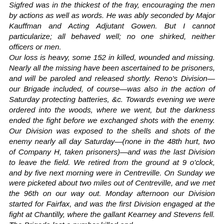Sigfred was in the thickest of the fray, encouraging the men by actions as well as words. He was ably seconded by Major Kauffman and Acting Adjutant Gowen. But I cannot particularize; all behaved well; no one shirked, neither officers or men. Our loss is heavy, some 152 in killed, wounded and missing. Nearly all the missing have been ascertained to be prisoners, and will be paroled and released shortly. Reno's Division—our Brigade included, of course—was also in the action of Saturday protecting batteries, &c. Towards evening we were ordered into the woods, where we went, but the darkness ended the fight before we exchanged shots with the enemy. Our Division was exposed to the shells and shots of the enemy nearly all day Saturday—(none in the 48th hurt, two of Company H, taken prisoners)—and was the last Division to leave the field. We retired from the ground at 9 o'clock, and by five next morning were in Centreville. On Sunday we were picketed about two miles out of Centreville, and we met the 96th on our way out. Monday afternoon our Division started for Fairfax, and was the first Division engaged at the fight at Chantilly, where the gallant Kearney and Stevens fell. The Brigade lost a number killed and